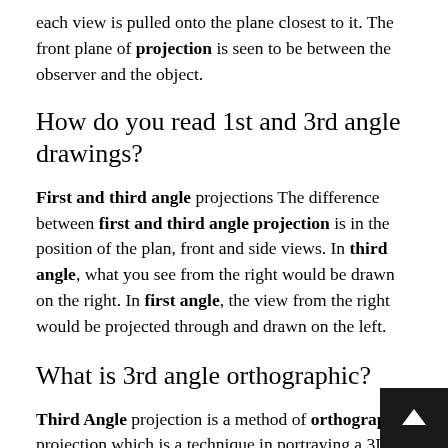each view is pulled onto the plane closest to it. The front plane of projection is seen to be between the observer and the object.
How do you read 1st and 3rd angle drawings?
First and third angle projections The difference between first and third angle projection is in the position of the plan, front and side views. In third angle, what you see from the right would be drawn on the right. In first angle, the view from the right would be projected through and drawn on the left.
What is 3rd angle orthographic?
Third Angle projection is a method of orthographic projection which is a technique in portraying a 3D design using a series of 2D views.